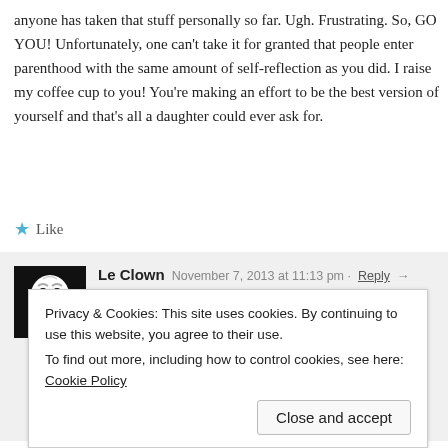anyone has taken that stuff personally so far. Ugh. Frustrating. So, GO YOU! Unfortunately, one can't take it for granted that people enter parenthood with the same amount of self-reflection as you did. I raise my coffee cup to you! You're making an effort to be the best version of yourself and that's all a daughter could ever ask for.
★ Like
Le Clown  November 7, 2013 at 11:13 pm · Reply →
Sarah,
Would you be kind enough to give me these links?
Readers here might just head over, and if no one does, I will…
Le Clown
Privacy & Cookies: This site uses cookies. By continuing to use this website, you agree to their use.
To find out more, including how to control cookies, see here: Cookie Policy
Close and accept